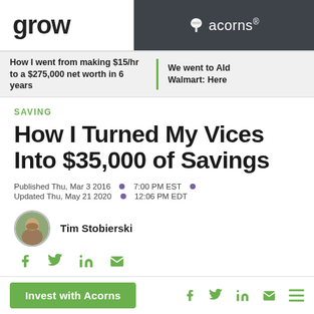grow | acorns®
How I went from making $15/hr to a $275,000 net worth in 6 years | We went to Aldi vs. Walmart: Here
SAVING
How I Turned My Vices Into $35,000 of Savings
Published Thu, Mar 3 2016 • 7:00 PM EST •
Updated Thu, May 21 2020 • 12:06 PM EDT
Tim Stobierski
Invest with Acorns